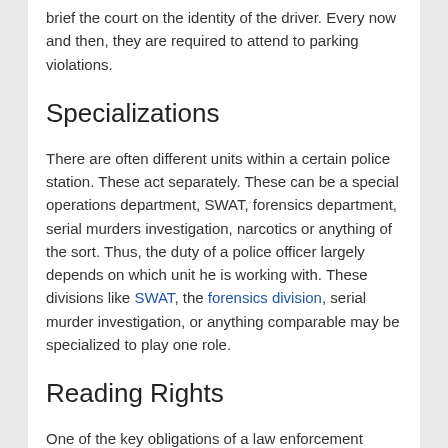brief the court on the identity of the driver. Every now and then, they are required to attend to parking violations.
Specializations
There are often different units within a certain police station. These act separately. These can be a special operations department, SWAT, forensics department, serial murders investigation, narcotics or anything of the sort. Thus, the duty of a police officer largely depends on which unit he is working with. These divisions like SWAT, the forensics division, serial murder investigation, or anything comparable may be specialized to play one role.
Reading Rights
One of the key obligations of a law enforcement official several is to read an offender their rights as they are being cuffed or restrained. They are supposed to request an attorney for prisoner, despite the fact that he or she can afford one. They are also supposed to work within the scope of the law and ensure that they themselves aren't breaking